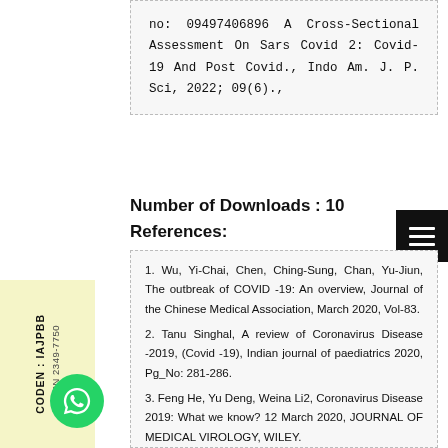no: 09497406896 A Cross-Sectional Assessment On Sars Covid 2: Covid-19 And Post Covid., Indo Am. J. P. Sci, 2022; 09(6).,
Number of Downloads : 10
References:
1. Wu, Yi-Chai, Chen, Ching-Sung, Chan, Yu-Jiun, The outbreak of COVID -19: An overview, Journal of the Chinese Medical Association, March 2020, Vol-83.
2. Tanu Singhal, A review of Coronavirus Disease -2019, (Covid -19), Indian journal of paediatrics 2020, Pg_No: 281-286.
3. Feng He, Yu Deng, Weina Li2, Coronavirus Disease 2019: What we know? 12 March 2020, JOURNAL OF MEDICAL VIROLOGY, WILEY.
4. Tanu Singhal, A Review of Coronavirus Disease-